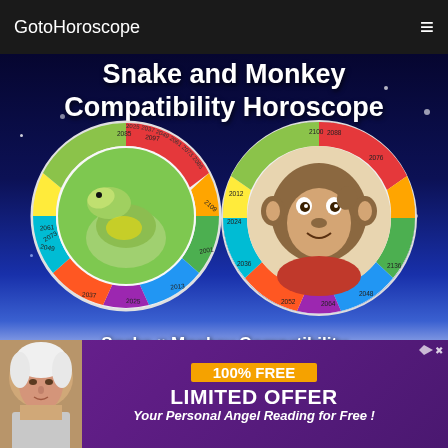GotoHoroscope
Snake and Monkey Compatibility Horoscope
[Figure (illustration): Two circular zodiac coin-style images side by side: left coin shows a green snake on a circular calendar wheel with Chinese zodiac years, right coin shows a monkey/chimpanzee on a similar circular calendar wheel. Background is a dark blue starry sky fading to white at the bottom.]
Snake ♥ Monkey Compatibility Chinese Compatibility Horoscope
[Figure (photo): Advertisement banner with an elderly woman on the left, and purple background with orange and white text on the right.]
100% FREE LIMITED OFFER Your Personal Angel Reading for Free !